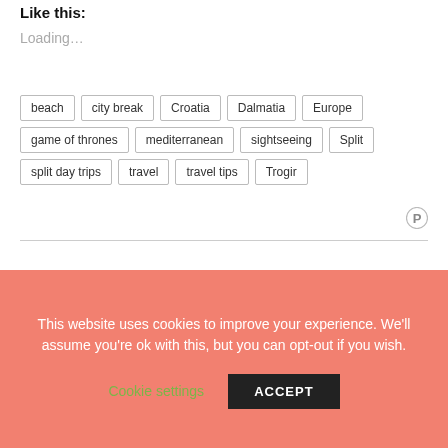Like this:
Loading...
beach
city break
Croatia
Dalmatia
Europe
game of thrones
mediterranean
sightseeing
Split
split day trips
travel
travel tips
Trogir
[Figure (logo): Pinterest icon (circled P)]
2 COMMENTS
This website uses cookies to improve your experience. We'll assume you're ok with this, but you can opt-out if you wish.
Cookie settings
ACCEPT